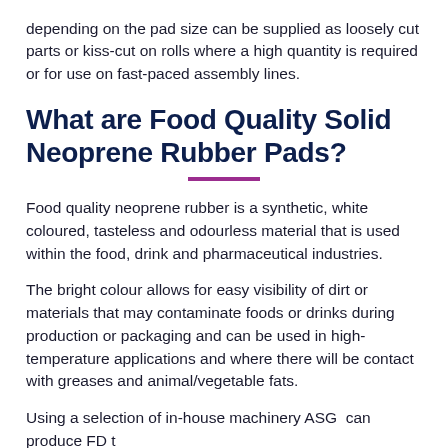depending on the pad size can be supplied as loosely cut parts or kiss-cut on rolls where a high quantity is required or for use on fast-paced assembly lines.
What are Food Quality Solid Neoprene Rubber Pads?
Food quality neoprene rubber is a synthetic, white coloured, tasteless and odourless material that is used within the food, drink and pharmaceutical industries.
The bright colour allows for easy visibility of dirt or materials that may contaminate foods or drinks during production or packaging and can be used in high-temperature applications and where there will be contact with greases and animal/vegetable fats.
Using a selection of in-house machinery ASG  can produce FD t...